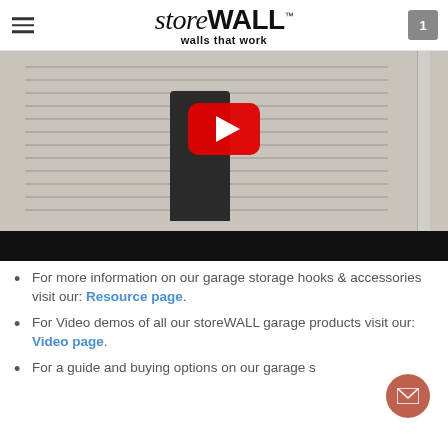storeWALL™ — walls that work
[Figure (screenshot): YouTube video thumbnail showing a person installing storeWALL slatwall panels in a garage, with a YouTube play button overlay]
For more information on our garage storage hooks & accessories visit our: Resource page.
For Video demos of all our storeWALL garage products visit our: Video page.
For a guide and buying options on our garage storage hooks and accessories visit our: Resource page.